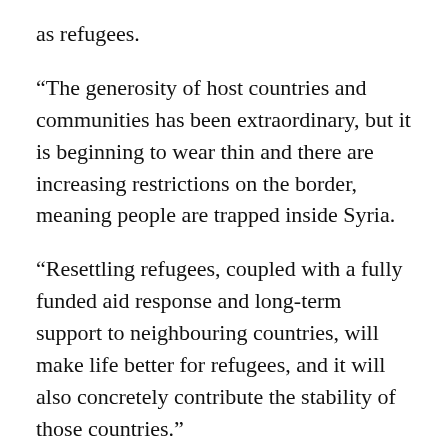as refugees.
“The generosity of host countries and communities has been extraordinary, but it is beginning to wear thin and there are increasing restrictions on the border, meaning people are trapped inside Syria.
“Resettling refugees, coupled with a fully funded aid response and long-term support to neighbouring countries, will make life better for refugees, and it will also concretely contribute the stability of those countries.”
Ahlam Souidi, who came to Glasgow as a refugee from Algeria 14 years ago, helps to run the Uniting